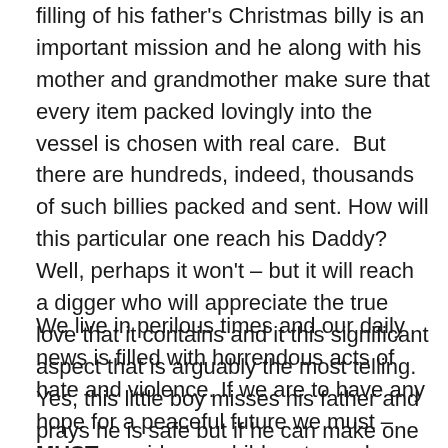filling of his father's Christmas billy is an important mission and he along with his mother and grandmother make sure that every item packed lovingly into the vessel is chosen with real care.  But there are hundreds, indeed, thousands of such billies packed and sent. How will this particular one reach his Daddy? Well, perhaps it won't – but it will reach a digger who will appreciate the true love that it contains and it this significant aspect that is arguably the most telling. Yes, this little boy misses his father and prays he is safe but if he can make one soldier's Christmas brighter, it is the same he hopes for his own Dad.
We live in perilous times and our daily news is filled with horrendous acts of hate and violence. If we are to have any hope for a peaceful future we must – MUST – guide our children towards compassion and love for all.